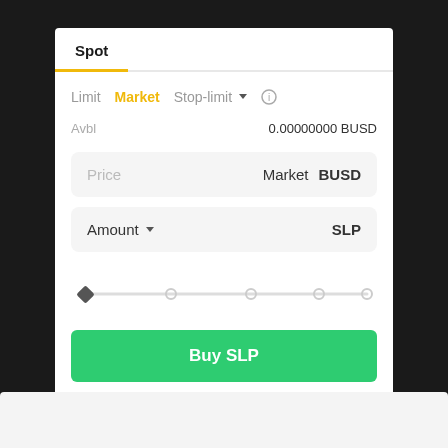Spot
Limit   Market   Stop-limit ▾   ⓘ
Avbl   0.00000000 BUSD
Price   Market   BUSD
Amount ▾   SLP
[Figure (other): Horizontal slider control with diamond-shaped handle at far left and four circular stops along the track]
Buy SLP